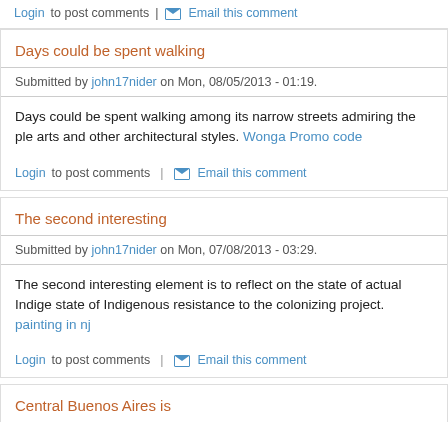Login to post comments | Email this comment
Days could be spent walking
Submitted by john17nider on Mon, 08/05/2013 - 01:19.
Days could be spent walking among its narrow streets admiring the ple... arts and other architectural styles. Wonga Promo code
Login to post comments | Email this comment
The second interesting
Submitted by john17nider on Mon, 07/08/2013 - 03:29.
The second interesting element is to reflect on the state of actual Indige... state of Indigenous resistance to the colonizing project. painting in nj
Login to post comments | Email this comment
Central Buenos Aires is